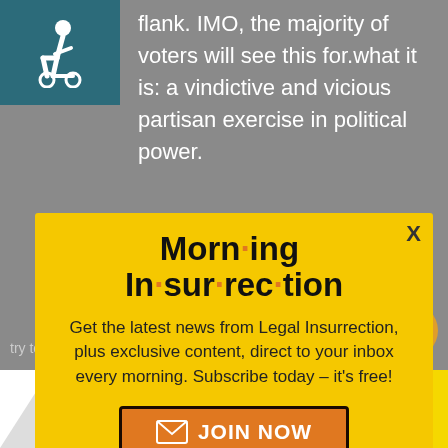flank. IMO, the majority of voters will see this for what it is: a vindictive and vicious partisan exercise in political power.
[Figure (illustration): Accessibility icon (wheelchair symbol) on teal/dark green background]
Morn·ing In·sur·rec·tion
Get the latest news from Legal Insurrection, plus exclusive content, direct to your inbox every morning. Subscribe today – it's free!
JOIN NOW
try to be additional election
[Figure (advertisement): THE PERSPECTIVE advertisement banner reading SEE WHAT YOU'RE MISSING with READ MORE button]